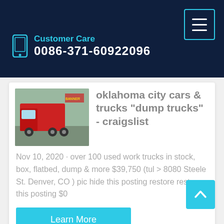Customer Care 0086-371-60922096
oklahoma city cars & trucks "dump trucks" - craigslist
Nov 10, 2020 · over 100 used work trucks in stock, box, flatbed, dump & more $39,750 (tul > 8080 Steele St. Denver, CO ) pic hide this posting restore restore this posting $0
Learn More
[Figure (photo): Red heavy-duty truck (semi/dump truck) parked outdoors]
KA Commercial Trucks
[Figure (photo): Partial view of a white and red truck/vehicle]